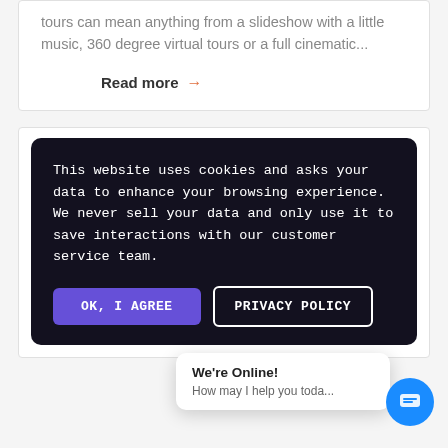tours can mean anything from a slideshow with a little music, 360 degree virtual tours or a full cinematic...
Read more →
This website uses cookies and asks your data to enhance your browsing experience. We never sell your data and only use it to save interactions with our customer service team.
OK, I AGREE
PRIVACY POLICY
We're Online! How may I help you toda...